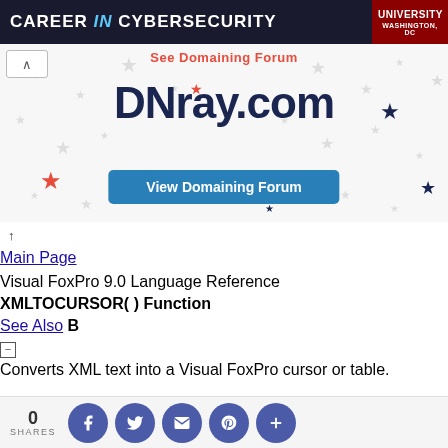[Figure (other): Advertisement banner: CAREER in CYBERSECURITY with university logo (Washington DC) on dark blue background]
[Figure (other): DNray.com domaining forum promotional banner with stars decoration, collapse button, red heading text 'See Domaining Forum', large bold DNray.com text, and blue 'View Domaining Forum' button]
↑
Main Page
Visual FoxPro 9.0 Language Reference
XMLTOCURSOR( ) Function
See Also  B
[−]
Converts XML text into a Visual FoxPro cursor or table.
0 SHARES (social share buttons: Facebook, Twitter, Email, Pinterest, More)